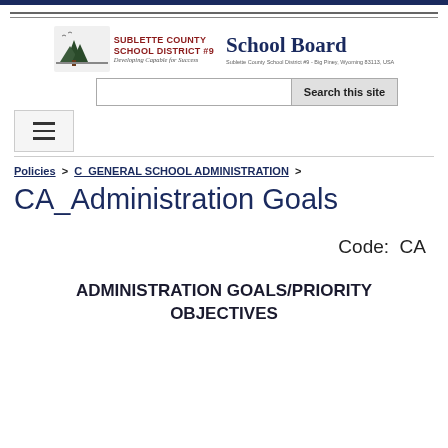[Figure (logo): Sublette County School District #9 logo with School Board text]
Search this site
Policies > C_GENERAL SCHOOL ADMINISTRATION >
CA_Administration Goals
Code:  CA
ADMINISTRATION GOALS/PRIORITY OBJECTIVES